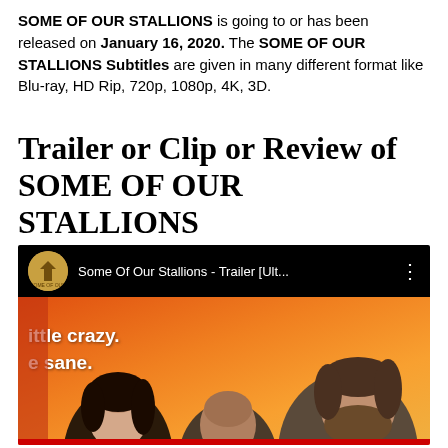SOME OF OUR STALLIONS is going to or has been released on January 16, 2020. The SOME OF OUR STALLIONS Subtitles are given in many different format like Blu-ray, HD Rip, 720p, 1080p, 4K, 3D.
Trailer or Clip or Review of SOME OF OUR STALLIONS
[Figure (screenshot): YouTube video embed showing 'Some Of Our Stallions - Trailer [Ult...' with a thumbnail showing three people (a woman, a bald man, and a bearded man) against an orange background with white subtitle text 'ittle crazy.' and 'e sane.']